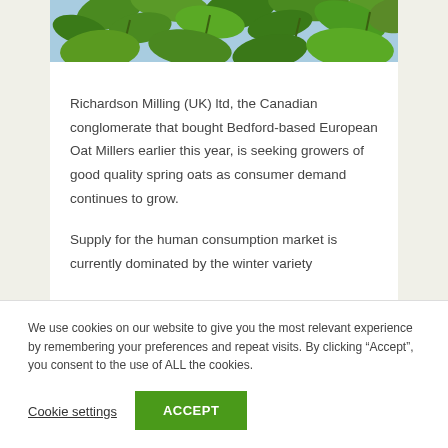[Figure (photo): Green leaves and foliage against a blue sky, partially visible crop photo strip at the top of the page]
Richardson Milling (UK) ltd, the Canadian conglomerate that bought Bedford-based European Oat Millers earlier this year, is seeking growers of good quality spring oats as consumer demand continues to grow.
Supply for the human consumption market is currently dominated by the winter variety
We use cookies on our website to give you the most relevant experience by remembering your preferences and repeat visits. By clicking “Accept”, you consent to the use of ALL the cookies.
Cookie settings
ACCEPT